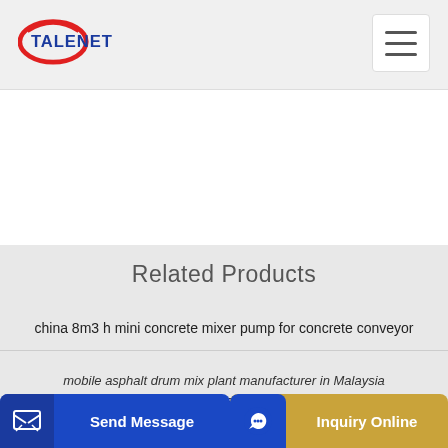[Figure (logo): Talenet logo with red ellipse and blue text]
[Figure (other): Hamburger menu button]
Related Products
china 8m3 h mini concrete mixer pump for concrete conveyor
One-Stop ce certification concrete pumps Depot From Leading Sellers
mobile asphalt drum mix plant manufacturer in Malaysia
Send Message
Inquiry Online